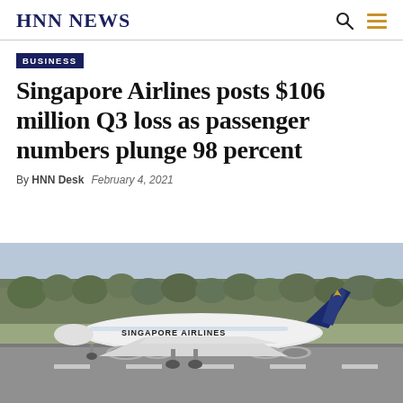HNN NEWS
BUSINESS
Singapore Airlines posts $106 million Q3 loss as passenger numbers plunge 98 percent
By HNN Desk  February 4, 2021
[Figure (photo): A Singapore Airlines A380 aircraft on the runway, with trees in the background. The plane is white with blue tail and 'SINGAPORE AIRLINES' written on the fuselage.]